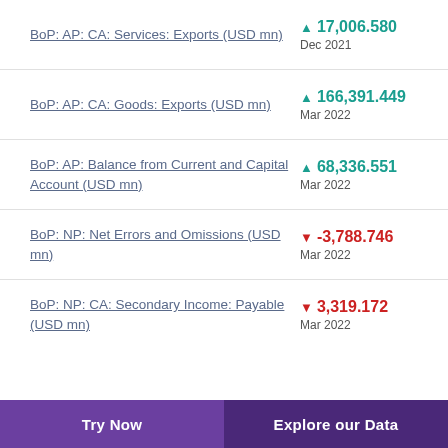BoP: AP: CA: Services: Exports (USD mn) ▲ 17,006.580 Dec 2021
BoP: AP: CA: Goods: Exports (USD mn) ▲ 166,391.449 Mar 2022
BoP: AP: Balance from Current and Capital Account (USD mn) ▲ 68,336.551 Mar 2022
BoP: NP: Net Errors and Omissions (USD mn) ▼ -3,788.746 Mar 2022
BoP: NP: CA: Secondary Income: Payable (USD mn) ▼ 3,319.172 Mar 2022
Try Now  |  Explore our Data